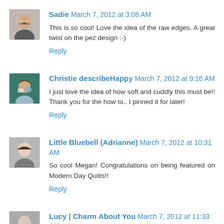[Figure (photo): Avatar photo of Sadie, a woman with glasses]
Sadie March 7, 2012 at 3:08 AM
This is so cool! Love the idea of the raw edges. A great twist on the pez design :-)
Reply
[Figure (photo): Avatar photo of Christie describeHappy]
Christie describeHappy March 7, 2012 at 9:16 AM
I just love the idea of how soft and cuddly this must be!! Thank you for the how to.. I pinned it for later!
Reply
[Figure (photo): Avatar photo of Little Bluebell (Adrianne), a woman]
Little Bluebell (Adrianne) March 7, 2012 at 10:31 AM
So cool Megan! Congratulations on being featured on Modern Day Quilts!!
Reply
[Figure (photo): Partial avatar photo of Lucy | Charm About You]
Lucy | Charm About You March 7, 2012 at 11:33 AM